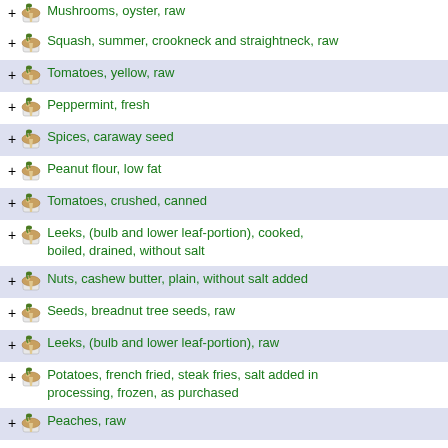Mushrooms, oyster, raw
Squash, summer, crookneck and straightneck, raw
Tomatoes, yellow, raw
Peppermint, fresh
Spices, caraway seed
Peanut flour, low fat
Tomatoes, crushed, canned
Leeks, (bulb and lower leaf-portion), cooked, boiled, drained, without salt
Nuts, cashew butter, plain, without salt added
Seeds, breadnut tree seeds, raw
Leeks, (bulb and lower leaf-portion), raw
Potatoes, french fried, steak fries, salt added in processing, frozen, as purchased
Peaches, raw
Pickle relish, hamburger